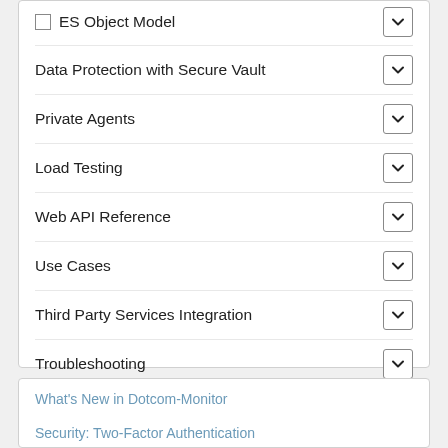ES Object Model
Data Protection with Secure Vault
Private Agents
Load Testing
Web API Reference
Use Cases
Third Party Services Integration
Troubleshooting
Account Management
Glossary
What's New in Dotcom-Monitor
Security: Two-Factor Authentication